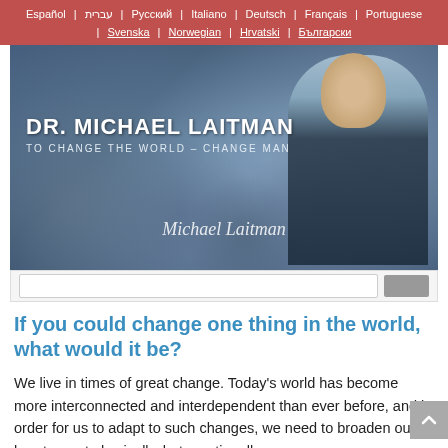Español | עברית | Русский | Italiano | Deutsch | Français | Portuguese | Svenska | Norwegian | Hrvatski | Български
[Figure (photo): Banner image of Dr. Michael Laitman – an elderly man with white beard and glasses in a dark suit and blue tie, against a blurred crowd background. Text overlay reads 'DR. MICHAEL LAITMAN' and 'TO CHANGE THE WORLD – CHANGE MAN' with a cursive signature 'Michael Laitman'.]
If you could change one thing in the world, what would it be?
We live in times of great change. Today's world has become more interconnected and interdependent than ever before, and in order for us to adapt to such changes, we need to broaden our hearts—not physically, but emotionally.
We need to start feeling that the world is a part of us, and